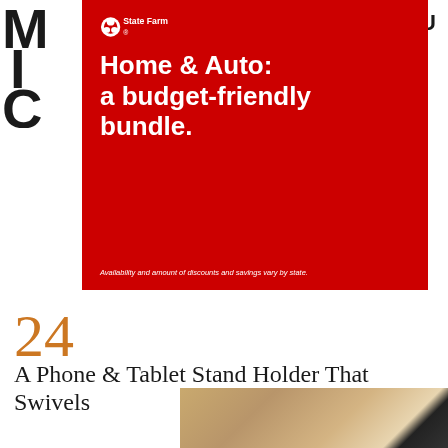[Figure (logo): MIC magazine logo in dark text, large stylized letters M I C stacked vertically on left side]
MENU
[Figure (infographic): State Farm red advertisement block with State Farm logo and headline: Home & Auto: a budget-friendly bundle. Fine print: Availability and amount of discounts and savings vary by state.]
24
A Phone & Tablet Stand Holder That Swivels
[Figure (photo): Partial photo at bottom right showing a phone/tablet stand holder product]